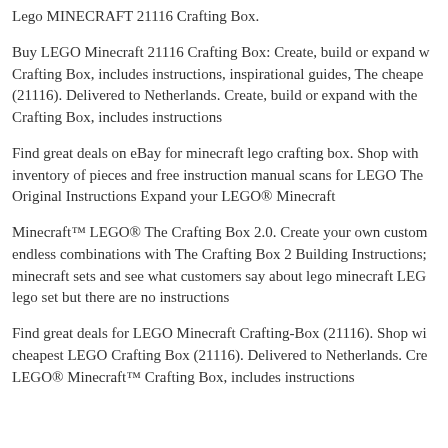Lego MINECRAFT 21116 Crafting Box.
Buy LEGO Minecraft 21116 Crafting Box: Create, build or expand w Crafting Box, includes instructions, inspirational guides, The cheape (21116). Delivered to Netherlands. Create, build or expand with the Crafting Box, includes instructions
Find great deals on eBay for minecraft lego crafting box. Shop with inventory of pieces and free instruction manual scans for LEGO The Original Instructions Expand your LEGO® Minecraft
Minecraft™ LEGO® The Crafting Box 2.0. Create your own custom endless combinations with The Crafting Box 2 Building Instructions; minecraft sets and see what customers say about lego minecraft LEG lego set but there are no instructions
Find great deals for LEGO Minecraft Crafting-Box (21116). Shop wi cheapest LEGO Crafting Box (21116). Delivered to Netherlands. Cre LEGO® Minecraft™ Crafting Box, includes instructions